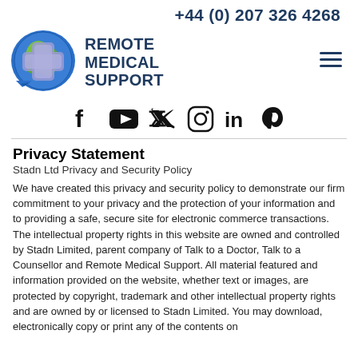+44 (0) 207 326 4268
[Figure (logo): Remote Medical Support logo: globe with medical cross and speech bubble, with company name REMOTE MEDICAL SUPPORT in dark navy]
[Figure (infographic): Row of social media icons: Facebook, YouTube, Twitter, Instagram, LinkedIn, Pinterest]
Privacy Statement
Stadn Ltd Privacy and Security Policy
We have created this privacy and security policy to demonstrate our firm commitment to your privacy and the protection of your information and to providing a safe, secure site for electronic commerce transactions. The intellectual property rights in this website are owned and controlled by Stadn Limited, parent company of Talk to a Doctor, Talk to a Counsellor and Remote Medical Support. All material featured and information provided on the website, whether text or images, are protected by copyright, trademark and other intellectual property rights and are owned by or licensed to Stadn Limited. You may download, electronically copy or print any of the contents on